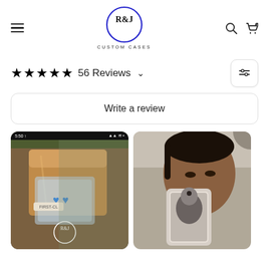[Figure (logo): R&J Custom Cases logo: circle with R&J text inside, 'CUSTOM CASES' underneath in spaced caps]
★★★★★ 56 Reviews
Write a review
[Figure (photo): Phone screenshot showing a package delivery with R&J Custom Cases branded packaging, blue heart decorative elements visible]
[Figure (photo): Person holding a custom phone case showing a black and white portrait photo on the case, taking a mirror selfie]